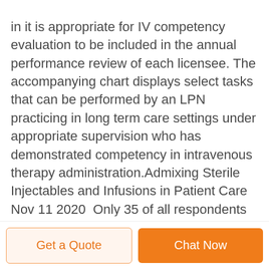in it is appropriate for IV competency evaluation to be included in the annual performance review of each licensee. The accompanying chart displays select tasks that can be performed by an LPN practicing in long term care settings under appropriate supervision who has demonstrated competency in intravenous therapy administration.Admixing Sterile Injectables and Infusions in Patient Care Nov 11 2020  Only 35 of all respondents reported that
Get a Quote   Chat Now